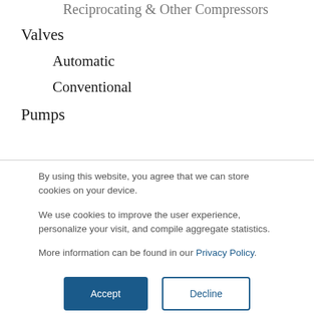Reciprocating & Other Compressors
Valves
Automatic
Conventional
Pumps
By using this website, you agree that we can store cookies on your device.
We use cookies to improve the user experience, personalize your visit, and compile aggregate statistics.
More information can be found in our Privacy Policy.